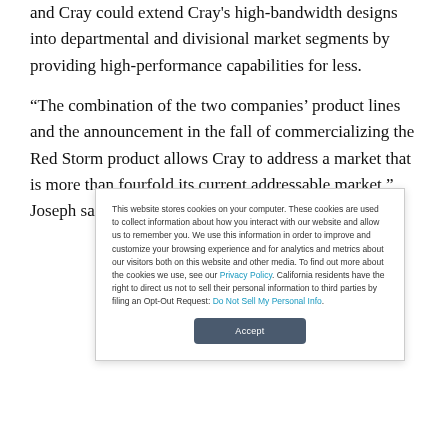and Cray could extend Cray's high-bandwidth designs into departmental and divisional market segments by providing high-performance capabilities for less.
“The combination of the two companies’ product lines and the announcement in the fall of commercializing the Red Storm product allows Cray to address a market that is more than fourfold its current addressable market.” Joseph said.
This website stores cookies on your computer. These cookies are used to collect information about how you interact with our website and allow us to remember you. We use this information in order to improve and customize your browsing experience and for analytics and metrics about our visitors both on this website and other media. To find out more about the cookies we use, see our Privacy Policy. California residents have the right to direct us not to sell their personal information to third parties by filing an Opt-Out Request: Do Not Sell My Personal Info.